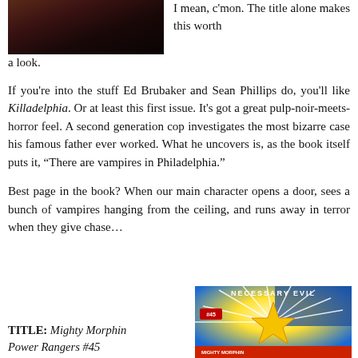[Figure (photo): Partial view of a dark-toned photo at top left, appearing to show a person in shadow]
I mean, c'mon. The title alone makes this worth a look.
If you're into the stuff Ed Brubaker and Sean Phillips do, you'll like Killadelphia. Or at least this first issue. It's got a great pulp-noir-meets-horror feel. A second generation cop investigates the most bizarre case his famous father ever worked. What he uncovers is, as the book itself puts it, “There are vampires in Philadelphia.”
Best page in the book? When our main character opens a door, sees a bunch of vampires hanging from the ceiling, and runs away in terror when they give chase…
TITLE: Mighty Morphin Power Rangers #45
[Figure (photo): Comic book cover for Mighty Morphin Power Rangers #45 showing 'Necessary Evil' text with colorful explosion graphics]